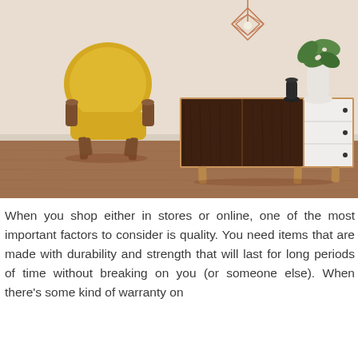[Figure (photo): A mid-century modern interior scene featuring a yellow accent chair with wooden legs on the left, and a walnut-finish sideboard/credenza with dark sliding doors and three white drawers on the right. A geometric rose-gold pendant light hangs from the ceiling, and a monstera plant in a white vase sits on top of the sideboard. The floor is warm hardwood and the walls are a cream/beige color.]
When you shop either in stores or online, one of the most important factors to consider is quality. You need items that are made with durability and strength that will last for long periods of time without breaking on you (or someone else). When there's some kind of warranty on